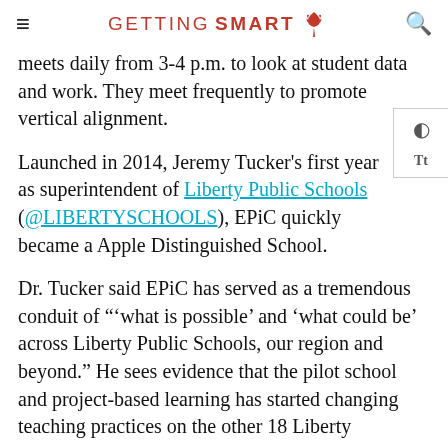≡  GETTING SMART 🌳  🔍
meets daily from 3-4 p.m. to look at student data and work. They meet frequently to promote vertical alignment.
Launched in 2014, Jeremy Tucker's first year as superintendent of Liberty Public Schools (@LIBERTYSCHOOLS), EPiC quickly became a Apple Distinguished School.
Dr. Tucker said EPiC has served as a tremendous conduit of "'what is possible' and 'what could be' across Liberty Public Schools, our region and beyond." He sees evidence that the pilot school and project-based learning has started changing teaching practices on the other 18 Liberty campuses.